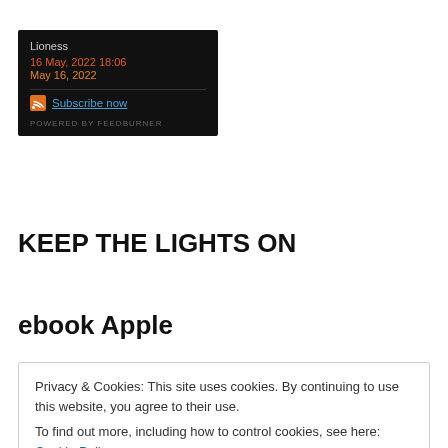[Figure (screenshot): FeedBurner subscription widget with dark background showing 'Lioness' feed title, date '16 May, 2022 18:06' in red, 'May 16, 2022' in orange, RSS icon with 'Subscribe now' link in blue, and 'POWERED BY FEEDBURNER' footer text]
KEEP THE LIGHTS ON
ebook Apple
Privacy & Cookies: This site uses cookies. By continuing to use this website, you agree to their use.
To find out more, including how to control cookies, see here: Cookie Policy
ebook Apple